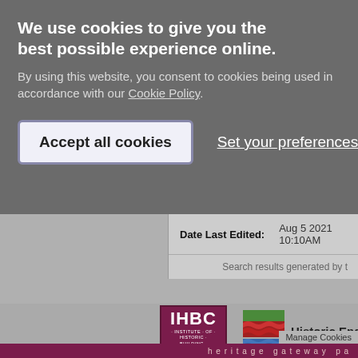We use cookies to give you the best possible experience online.
By using this website, you consent to cookies being used in accordance with our Cookie Policy.
Accept all cookies
Set your preferences
| Date Last Edited: | Aug 5 2021 10:10AM |
| --- | --- |
Search results generated by t
[Figure (logo): IHBC - Institute of Historic Building Conservation logo, maroon/purple square with white letters IHBC]
[Figure (logo): Historic England partial logo with wave pattern in green, red and blue]
heritage gateway pa
Manage Cookies